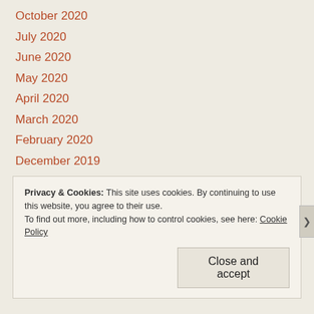October 2020
July 2020
June 2020
May 2020
April 2020
March 2020
February 2020
December 2019
September 2019
August 2019
Privacy & Cookies: This site uses cookies. By continuing to use this website, you agree to their use. To find out more, including how to control cookies, see here: Cookie Policy
Close and accept